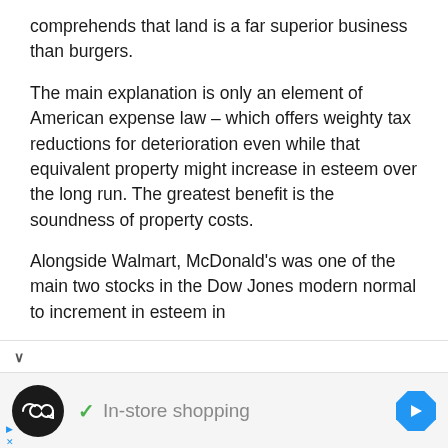comprehends that land is a far superior business than burgers.
The main explanation is only an element of American expense law – which offers weighty tax reductions for deterioration even while that equivalent property might increase in esteem over the long run. The greatest benefit is the soundness of property costs.
Alongside Walmart, McDonald's was one of the main two stocks in the Dow Jones modern normal to increment in esteem in
[Figure (screenshot): Advertisement bar at the bottom showing a logo with infinity symbol, a green checkmark with 'In-store shopping' text, and a blue diamond navigation arrow on the right.]